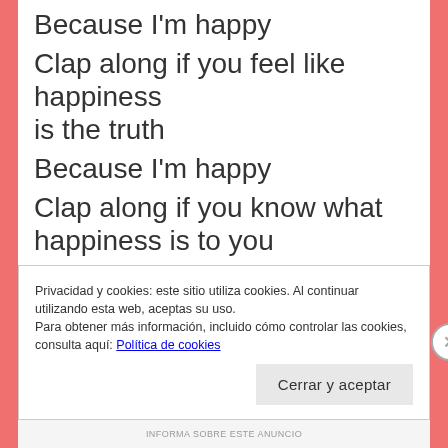Because I'm happy
Clap along if you feel like happiness is the truth
Because I'm happy
Clap along if you know what happiness is to you
Because I'm happy
Clap along if you feel like that's what
Privacidad y cookies: este sitio utiliza cookies. Al continuar utilizando esta web, aceptas su uso.
Para obtener más información, incluido cómo controlar las cookies, consulta aquí: Política de cookies
Cerrar y aceptar
INFORMA SOBRE ESTE ANUNCIO